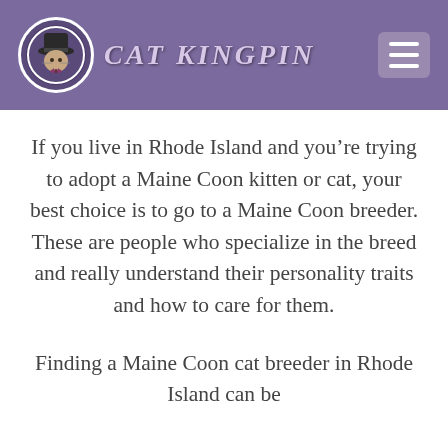CAT KINGPIN
If you live in Rhode Island and you’re trying to adopt a Maine Coon kitten or cat, your best choice is to go to a Maine Coon breeder.  These are people who specialize in the breed and really understand their personality traits and how to care for them.
Finding a Maine Coon cat breeder in Rhode Island can be